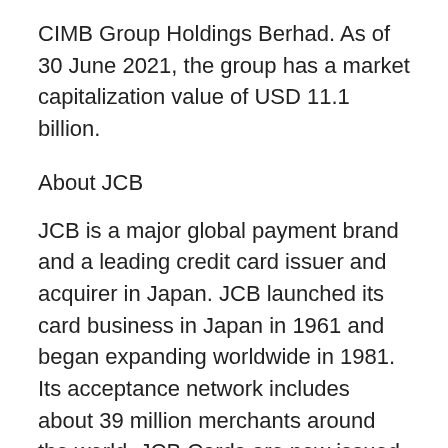CIMB Group Holdings Berhad. As of 30 June 2021, the group has a market capitalization value of USD 11.1 billion.
About JCB
JCB is a major global payment brand and a leading credit card issuer and acquirer in Japan. JCB launched its card business in Japan in 1961 and began expanding worldwide in 1981. Its acceptance network includes about 39 million merchants around the world. JCB Cards are now issued mainly in Asian countries and territories, with more than 140